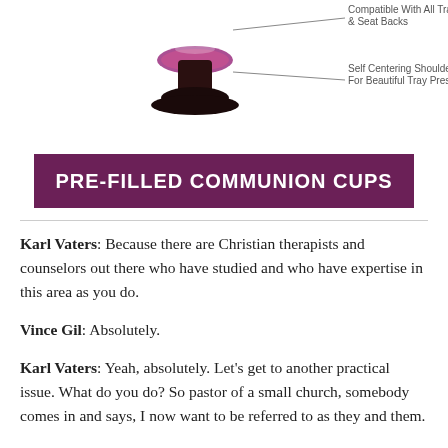[Figure (illustration): Top portion of a product advertisement showing a pre-filled communion cup with annotation lines pointing to features, and a purple banner reading PRE-FILLED COMMUNION CUPS]
Karl Vaters: Because there are Christian therapists and counselors out there who have studied and who have expertise in this area as you do.
Vince Gil: Absolutely.
Karl Vaters: Yeah, absolutely. Let's get to another practical issue. What do you do? So pastor of a small church, somebody comes in and says, I now want to be referred to as they and them.
Vince Gil: Okay. Again, I think we have to get to what is meant by they and them.
What is the history. So it's not enough to say, Well, you know, those are pronouns that are now popular, but you really shouldn't be using them, or give them a simplistic answer. I think the key here is to find out, well, what's prompting this in you. What brings